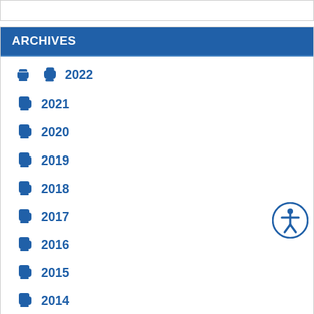ARCHIVES
2022
2021
2020
2019
2018
2017
2016
2015
2014
2013